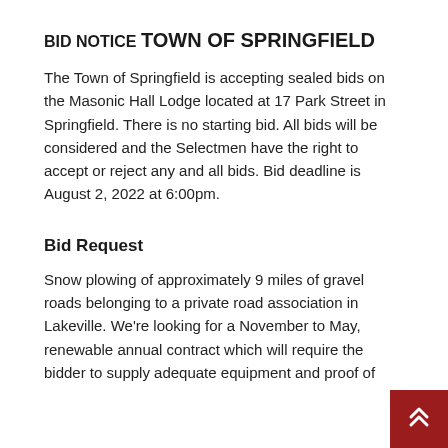BID NOTICE
TOWN OF SPRINGFIELD
The Town of Springfield is accepting sealed bids on the Masonic Hall Lodge located at 17 Park Street in Springfield. There is no starting bid. All bids will be considered and the Selectmen have the right to accept or reject any and all bids. Bid deadline is August 2, 2022 at 6:00pm.
Bid Request
Snow plowing of approximately 9 miles of gravel roads belonging to a private road association in Lakeville. We're looking for a November to May, renewable annual contract which will require the bidder to supply adequate equipment and proof of